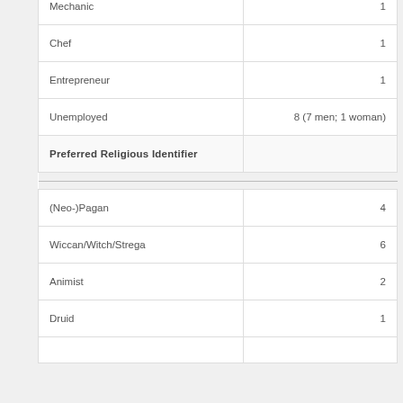| Category | Count |
| --- | --- |
| Mechanic | 1 |
| Chef | 1 |
| Entrepreneur | 1 |
| Unemployed | 8 (7 men; 1 woman) |
| Preferred Religious Identifier |  |
| (Neo-)Pagan | 4 |
| Wiccan/Witch/Strega | 6 |
| Animist | 2 |
| Druid | 1 |
| (next row partially visible) | 1 |